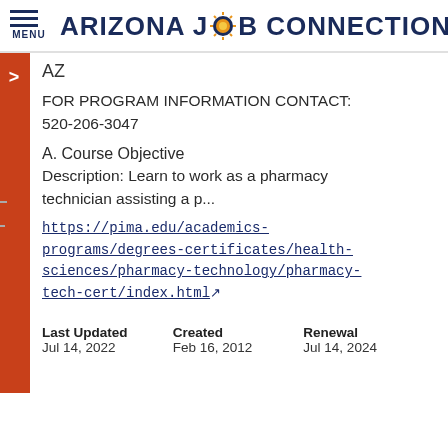ARIZONA JOB CONNECTION
AZ
FOR PROGRAM INFORMATION CONTACT: 520-206-3047
A. Course Objective
Description: Learn to work as a pharmacy technician assisting a p...
https://pima.edu/academics-programs/degrees-certificates/health-sciences/pharmacy-technology/pharmacy-tech-cert/index.html
Last Updated Jul 14, 2022   Created Feb 16, 2012   Renewal Jul 14, 2024